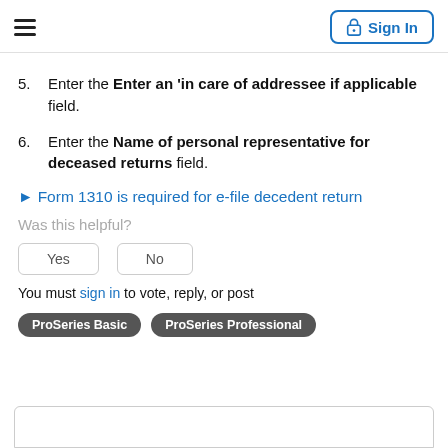Sign In
5. Enter the Enter an 'in care of addressee if applicable field.
6. Enter the Name of personal representative for deceased returns field.
► Form 1310 is required for e-file decedent return
Was this helpful?
Yes   No
You must sign in to vote, reply, or post
ProSeries Basic   ProSeries Professional